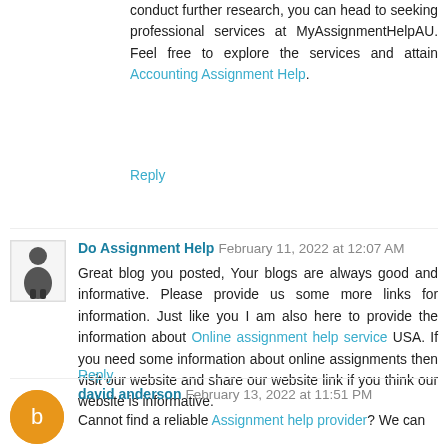conduct further research, you can head to seeking professional services at MyAssignmentHelpAU. Feel free to explore the services and attain Accounting Assignment Help.
Reply
Do Assignment Help  February 11, 2022 at 12:07 AM
Great blog you posted, Your blogs are always good and informative. Please provide us some more links for information. Just like you I am also here to provide the information about Online assignment help service USA. If you need some information about online assignments then visit our website and share our website link if you think our website is informative.
Reply
david anderson  February 13, 2022 at 11:51 PM
Cannot find a reliable Assignment help provider? We can